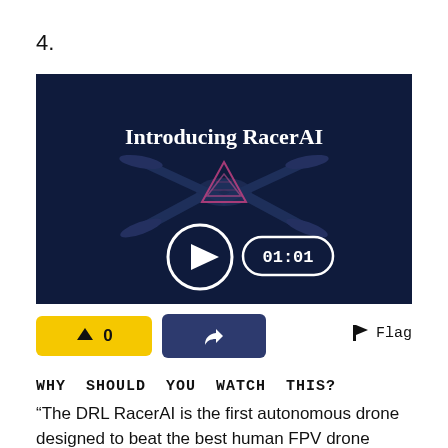4.
[Figure (screenshot): Video thumbnail showing a dark blue background with a drone (RacerAI) visible, text 'Introducing RacerAI' in white, a white play button circle icon, and a time indicator badge reading '01:01'.]
↑ 0  [share]  Flag
WHY SHOULD YOU WATCH THIS?
“The DRL RacerAI is the first autonomous drone designed to beat the best human FPV drone pilots in th